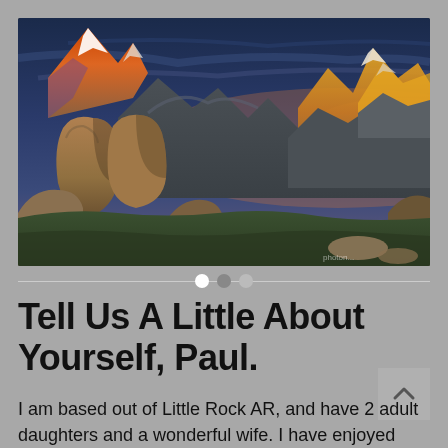[Figure (photo): Panoramic mountain landscape at dusk/dawn with dramatic orange and red peaks lit by sunlight, large boulders in foreground, dark blue stormy sky above, green valley below]
Tell Us A Little About Yourself, Paul.
I am based out of Little Rock AR, and have 2 adult daughters and a wonderful wife. I have enjoyed hiking all across the US, but have a great set of